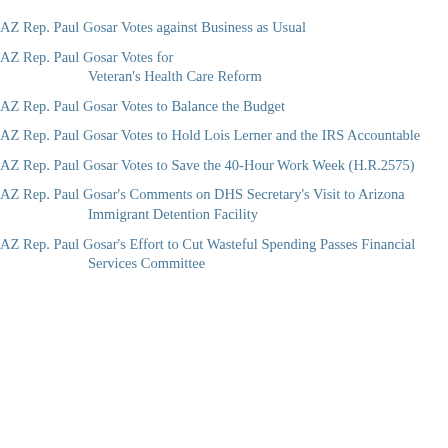AZ Rep. Paul Gosar Votes against Business as Usual
AZ Rep. Paul Gosar Votes for Veteran's Health Care Reform
AZ Rep. Paul Gosar Votes to Balance the Budget
AZ Rep. Paul Gosar Votes to Hold Lois Lerner and the IRS Accountable
AZ Rep. Paul Gosar Votes to Save the 40-Hour Work Week (H.R.2575)
AZ Rep. Paul Gosar's Comments on DHS Secretary's Visit to Arizona Immigrant Detention Facility
AZ Rep. Paul Gosar's Effort to Cut Wasteful Spending Passes Financial Services Committee